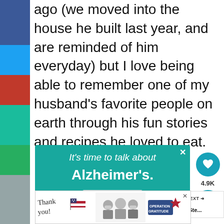ago (we moved into the house he built last year, and are reminded of him everyday) but I love being able to remember one of my husband's favorite people on earth through his fun stories and recipes he loved to eat.
[Figure (screenshot): Alzheimer's awareness advertisement banner: teal background with text 'It's time to talk about Alzheimer's.' and 'LEARN MORE' button and 'alz.org/ourstories' URL, with illustrated figures of elderly people]
[Figure (screenshot): Operation Gratitude thank you advertisement banner with handwritten 'thank you' text, American flag, photo of healthcare workers with masks, and Operation Gratitude logo]
[Figure (infographic): What's Next panel showing 'The Best Venison Ste...' with food thumbnail image]
[Figure (infographic): Social share sidebar with heart icon showing 4.9K likes and share icon on teal circles]